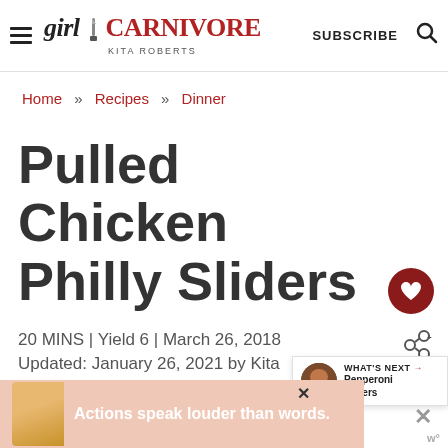Girl Carnivore — Kita Roberts | SUBSCRIBE
Home » Recipes » Dinner
Pulled Chicken Philly Sliders
20 MINS | Yield 6 | March 26, 2018
Updated: January 26, 2021 by Kita
This post includes affiliate links. As an Amazon Associate, we earn from
[Figure (other): What's Next popup showing Pepperoni Sliders with thumbnail image]
[Figure (other): Advertisement banner: Actions speak louder than words.]